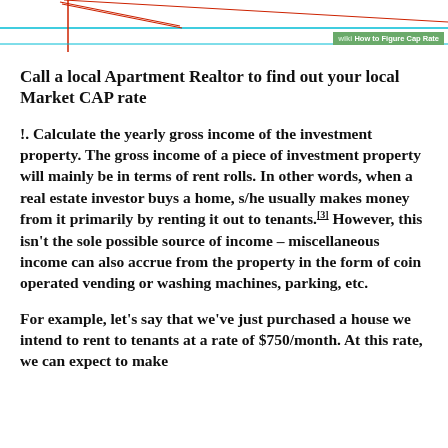wiki How to Figure Cap Rate
Call a local Apartment Realtor to find out your local Market CAP rate
!. Calculate the yearly gross income of the investment property. The gross income of a piece of investment property will mainly be in terms of rent rolls. In other words, when a real estate investor buys a home, s/he usually makes money from it primarily by renting it out to tenants.[3] However, this isn't the sole possible source of income – miscellaneous income can also accrue from the property in the form of coin operated vending or washing machines, parking, etc.
For example, let's say that we've just purchased a house we intend to rent to tenants at a rate of $750/month. At this rate, we can expect to make